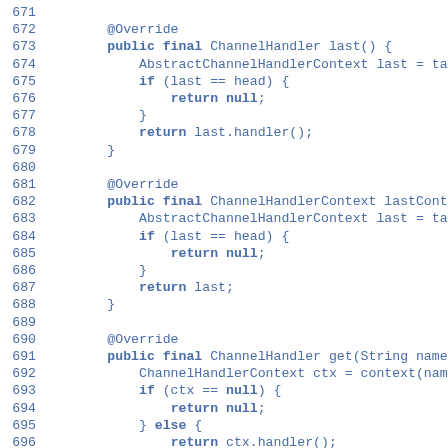Source code lines 671-698 showing Java methods last(), lastContext(), and get(String name) with @Override annotations